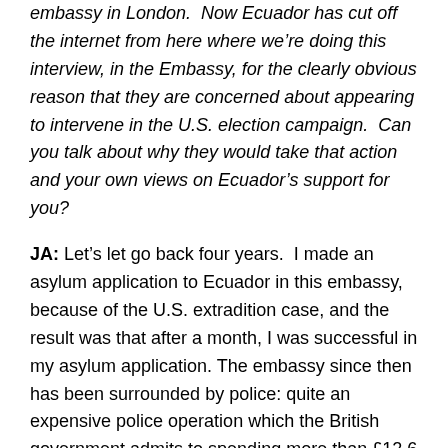embassy in London.  Now Ecuador has cut off the internet from here where we're doing this interview, in the Embassy, for the clearly obvious reason that they are concerned about appearing to intervene in the U.S. election campaign.  Can you talk about why they would take that action and your own views on Ecuador's support for you?
JA: Let's let go back four years.  I made an asylum application to Ecuador in this embassy, because of the U.S. extradition case, and the result was that after a month, I was successful in my asylum application. The embassy since then has been surrounded by police: quite an expensive police operation which the British government admits to spending more than £12.6 million. They admitted that over a year ago.  Now there's undercover police and there are robot surveillance